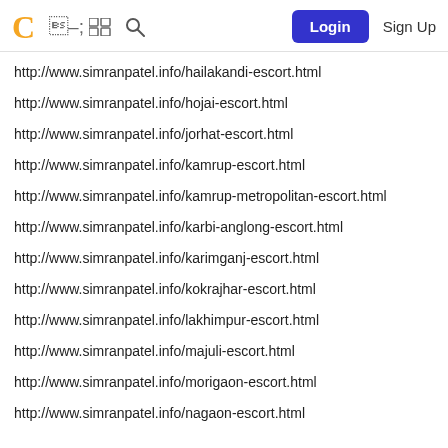C [grid icon] [search icon] Login Sign Up
http://www.simranpatel.info/hailakandi-escort.html
http://www.simranpatel.info/hojai-escort.html
http://www.simranpatel.info/jorhat-escort.html
http://www.simranpatel.info/kamrup-escort.html
http://www.simranpatel.info/kamrup-metropolitan-escort.html
http://www.simranpatel.info/karbi-anglong-escort.html
http://www.simranpatel.info/karimganj-escort.html
http://www.simranpatel.info/kokrajhar-escort.html
http://www.simranpatel.info/lakhimpur-escort.html
http://www.simranpatel.info/majuli-escort.html
http://www.simranpatel.info/morigaon-escort.html
http://www.simranpatel.info/nagaon-escort.html